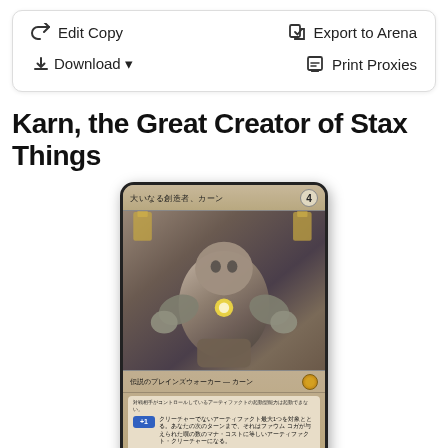Edit Copy
Export to Arena
Download
Print Proxies
Karn, the Great Creator of Stax Things
[Figure (illustration): Magic: The Gathering card in Japanese — 大いなる創造者、カーン (Karn, the Great Creator). Shows a large silver/metal golem figure with glowing energy in chest area. Card type line reads 伝説のプレインズウォーカー — カーン. Has loyalty abilities +1 and -2 shown in card text box.]